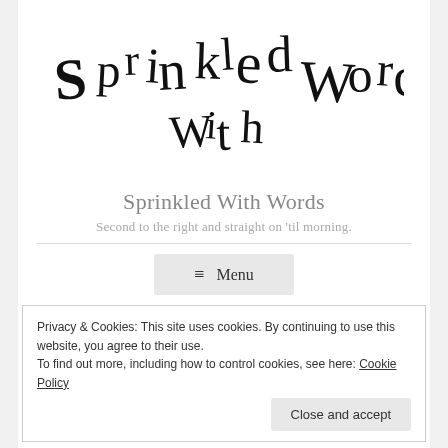[Figure (logo): Sprinkled Words logo with mixed-size serif letters arranged playfully]
Sprinkled With Words
Second to the right and straight on 'til morning.
≡  Menu
Privacy & Cookies: This site uses cookies. By continuing to use this website, you agree to their use.
To find out more, including how to control cookies, see here: Cookie Policy
Close and accept
Three Days, Three Quotes: Tag